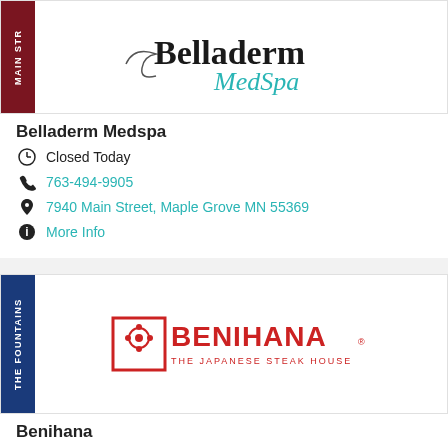[Figure (logo): Belladerm MedSpa logo with dark red MAIN STREET side tab]
Belladerm Medspa
Closed Today
763-494-9905
7940 Main Street, Maple Grove MN 55369
More Info
[Figure (logo): Benihana The Japanese Steak House logo with dark blue THE FOUNTAINS side tab]
Benihana
Open until  9:30pm
763-315-0090
11840 Fountains Way, Maple Grove MN 55369